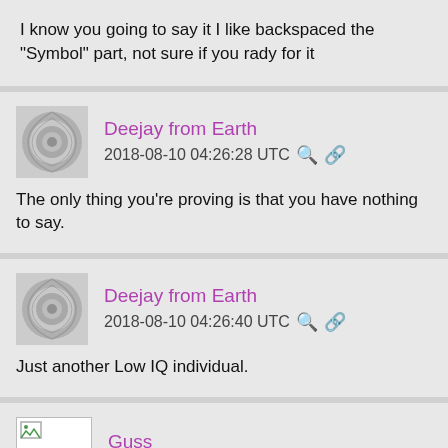I know you going to say it I like backspaced the "Symbol" part, not sure if you rady for it
Deejay from Earth
2018-08-10 04:26:28 UTC
The only thing you're proving is that you have nothing to say.
Deejay from Earth
2018-08-10 04:26:40 UTC
Just another Low IQ individual.
Guss
2018-08-10 04:26:47 UTC